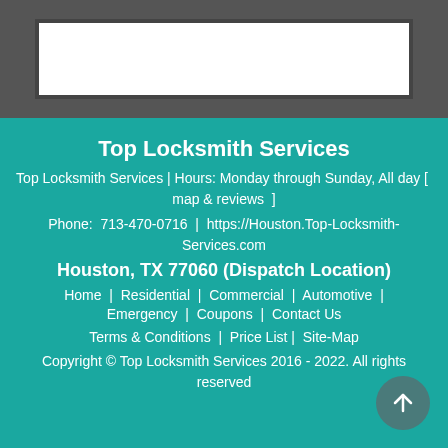[Figure (screenshot): Gray header bar with a white inner rectangle box outline]
Top Locksmith Services
Top Locksmith Services | Hours: Monday through Sunday, All day [  map & reviews  ]
Phone:  713-470-0716  |  https://Houston.Top-Locksmith-Services.com
Houston, TX 77060 (Dispatch Location)
Home  |  Residential  |  Commercial  |  Automotive  |  Emergency  |  Coupons  |  Contact Us
Terms & Conditions  |  Price List |  Site-Map
Copyright © Top Locksmith Services 2016 - 2022. All rights reserved